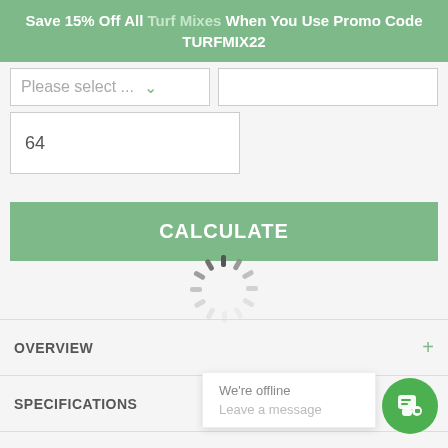Save 15% Off All Turf Mixes When You Use Promo Code TURFMIX22
[Figure (screenshot): Dropdown select input with placeholder 'Please select ...' and a green chevron arrow, next to an empty text input box]
[Figure (screenshot): Number input box showing the value 64]
[Figure (screenshot): Green CALCULATE button]
[Figure (screenshot): Loading spinner (animated circle with radiating lines)]
OVERVIEW
SPECIFICATIONS
HOW TO PLANT
RESOURCES
REVIEWS & Q&A
We're offline
Leave a message